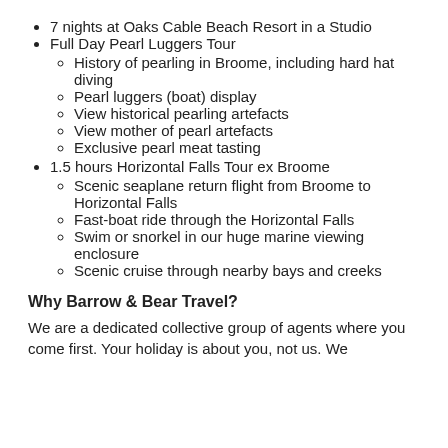7 nights at Oaks Cable Beach Resort in a Studio
Full Day Pearl Luggers Tour
History of pearling in Broome, including hard hat diving
Pearl luggers (boat) display
View historical pearling artefacts
View mother of pearl artefacts
Exclusive pearl meat tasting
1.5 hours Horizontal Falls Tour ex Broome
Scenic seaplane return flight from Broome to Horizontal Falls
Fast-boat ride through the Horizontal Falls
Swim or snorkel in our huge marine viewing enclosure
Scenic cruise through nearby bays and creeks
Why Barrow & Bear Travel?
We are a dedicated collective group of agents where you come first. Your holiday is about you, not us. We...